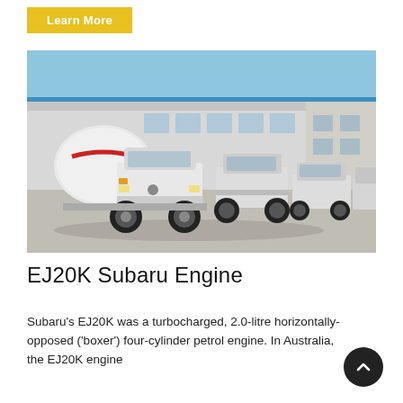Learn More
[Figure (photo): A row of white concrete mixer trucks parked outside a large industrial warehouse building with blue trim, under a clear blue sky.]
EJ20K Subaru Engine
Subaru's EJ20K was a turbocharged, 2.0-litre horizontally-opposed ('boxer') four-cylinder petrol engine. In Australia, the EJ20K engine